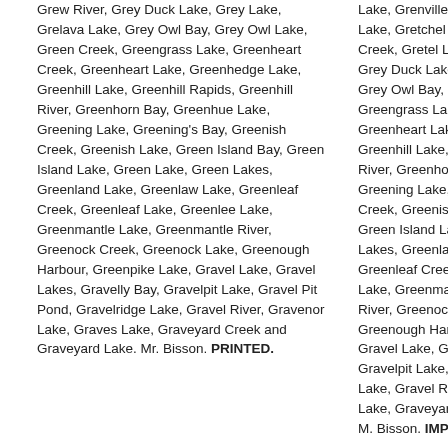Grew River, Grey Duck Lake, Grey Lake, Grelava Lake, Grey Owl Bay, Grey Owl Lake, Green Creek, Greengrass Lake, Greenheart Creek, Greenheart Lake, Greenhedge Lake, Greenhill Lake, Greenhill Rapids, Greenhill River, Greenhorn Bay, Greenhue Lake, Greening Lake, Greening's Bay, Greenish Creek, Greenish Lake, Green Island Bay, Green Island Lake, Green Lake, Green Lakes, Greenland Lake, Greenlaw Lake, Greenleaf Creek, Greenleaf Lake, Greenlee Lake, Greenmantle Lake, Greenmantle River, Greenock Creek, Greenock Lake, Greenough Harbour, Greenpike Lake, Gravel Lake, Gravel Lakes, Gravelly Bay, Gravelpit Lake, Gravel Pit Pond, Gravelridge Lake, Gravel River, Gravenor Lake, Graves Lake, Graveyard Creek and Graveyard Lake. Mr. Bisson. PRINTED.
Lake, Grenville Lake, Greske Lake, Gretchel Creek, Gretche Creek, Gretel Lake, Grew Lake, Grey Duck Lake, Grey Lake, Grey Owl Bay, Grey Owl Lake, Greengrass Lake, Greenheart Greenheart Lake, Greenhedge Greenhill Lake, Greenhill Rapids River, Greenhorn Bay, Green Greening Lake, Greening's Bay Creek, Greenish Lake, Green Green Island Lake, Green Lake, Lakes, Greenland Lake, Green Greenleaf Creek, Greenleaf Lake, Lake, Greenmantle Lake, Greenmantle River, Greenock Creek, Greenock Greenough Harbour, Greenpike Gravel Lake, Gravel Lakes, Gravelpit Lake, Gravel Pit Pond, Lake, Gravel River, Gravenor Lake, Graveyard Creek et Graveyard Lake. M. Bisson. IMPRIMÉ.